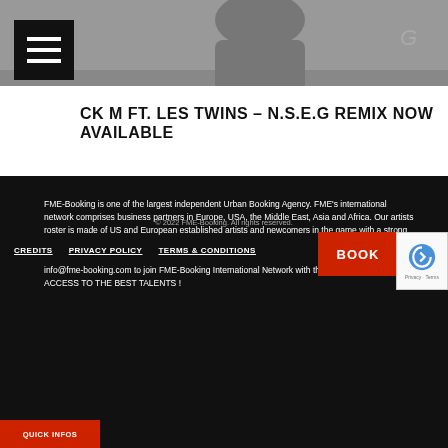[Figure (photo): Grayscale photo of a person, partially visible at top of page, with a dark menu/hamburger icon overlay in top-left corner]
CK M FT. LES TWINS – N.S.E.G REMIX NOW AVAILABLE
FME-Booking is one of the largest independent Urban Booking Agency. FME's international network comprises business partners in Europe, USA, the Middle East, Asia and Africa. Our artists roster is made of US and European established artists and newcomers in the game with a strong orientation to Urban music (Most notably artists like Snoop Dogg, Rick Ross, Sean Paul, Lloyd Banks, Tony Yayo, The Jillionaire from Major Lazer and many others). Contact us NOW at info@fme-booking.com to join FME-Booking International Network with the aim of simplifying your ACCESS TO THE BEST TALENTS !
© 2022 FME-Booking. All rights reserved.
CREDITS   PRIVACY POLICY   TERMS & CONDITIONS
[Figure (other): Red BOOK button partially visible]
[Figure (other): reCAPTCHA badge with robot icon and Privacy - Terms text]
QUICK INFOS